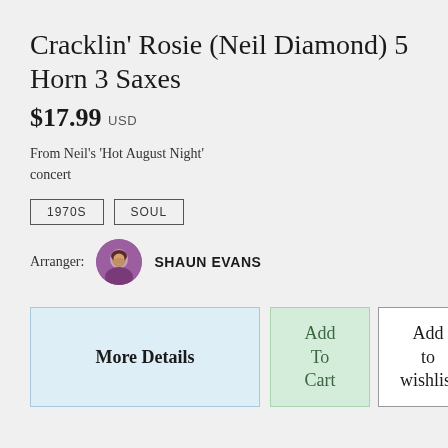Cracklin' Rosie (Neil Diamond) 5 Horn 3 Saxes
$17.99 USD
From Neil's 'Hot August Night' concert
1970S
SOUL
Arranger: SHAUN EVANS
More Details
Add To Cart
Add to wishlist